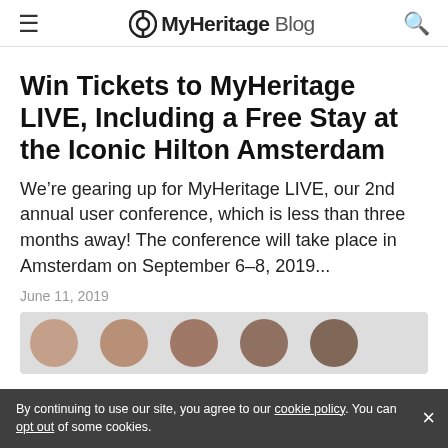MyHeritage Blog
Win Tickets to MyHeritage LIVE, Including a Free Stay at the Iconic Hilton Amsterdam
We’re gearing up for MyHeritage LIVE, our 2nd annual user conference, which is less than three months away! The conference will take place in Amsterdam on September 6–8, 2019...
June 11, 2019
[Figure (photo): Partially visible photo showing circular cropped portrait images of people at the bottom of the page]
By continuing to use our site, you agree to our cookie policy. You can opt out of some cookies.